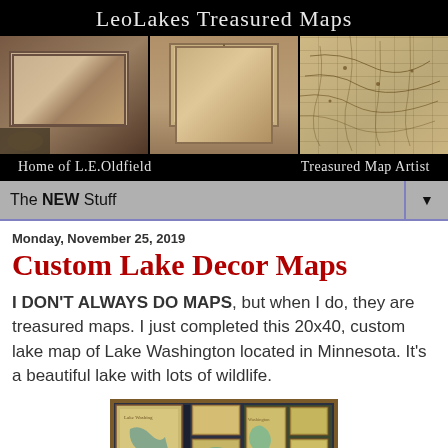[Figure (photo): LeoLakes Treasured Maps banner with three photos of maps and map-making equipment, title text 'LeoLakes Treasured Maps', subtitle 'Home of L.E.Oldfield' and 'Treasured Map Artist']
The NEW Stuff ▼
Monday, November 25, 2019
Custom Lake Decor Maps
I DON'T ALWAYS DO MAPS, but when I do, they are treasured maps. I just completed this 20x40, custom lake map of Lake Washington located in Minnesota. It's a beautiful lake with lots of wildlife.
[Figure (photo): Photo of framed custom lake maps displayed together, showing decorative lake maps with teal water and aged parchment styling]